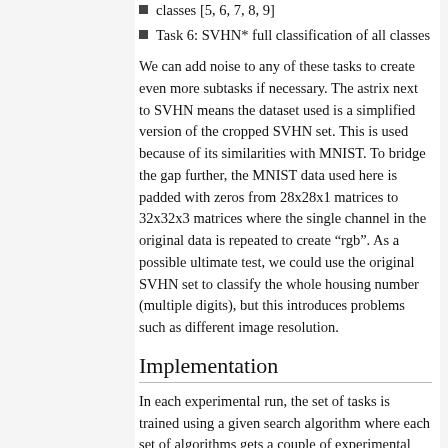classes [5, 6, 7, 8, 9]
Task 6: SVHN* full classification of all classes
We can add noise to any of these tasks to create even more subtasks if necessary. The astrix next to SVHN means the dataset used is a simplified version of the cropped SVHN set. This is used because of its similarities with MNIST. To bridge the gap further, the MNIST data used here is padded with zeros from 28x28x1 matrices to 32x32x3 matrices where the single channel in the original data is repeated to create "rgb". As a possible ultimate test, we could use the original SVHN set to classify the whole housing number (multiple digits), but this introduces problems such as different image resolution.
Implementation
In each experimental run, the set of tasks is trained using a given search algorithm where each set of algorithms gets a couple of experimental runs. The different search